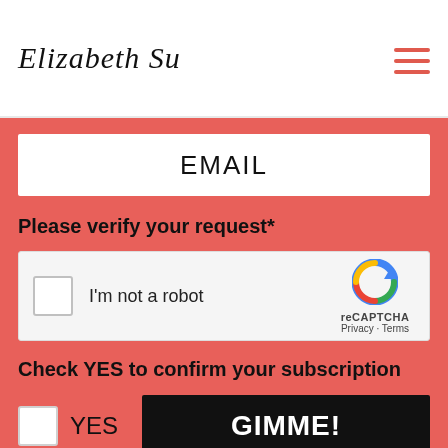Elizabeth Su
EMAIL
Please verify your request*
[Figure (other): reCAPTCHA widget with checkbox labeled I'm not a robot and reCAPTCHA logo with Privacy - Terms links]
Check YES to confirm your subscription
YES
GIMME!